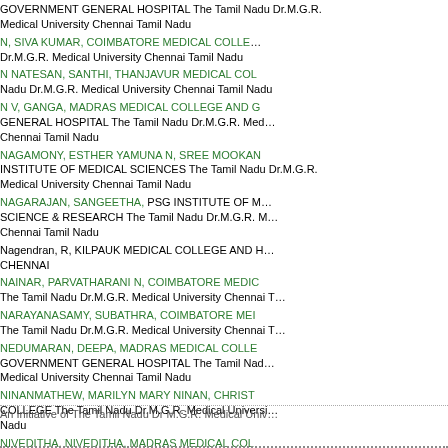GOVERNMENT GENERAL HOSPITAL The Tamil Nadu Dr.M.G.R. Medical University Chennai Tamil Nadu
N, SIVA KUMAR, COIMBATORE MEDICAL COLLEGE Dr.M.G.R. Medical University Chennai Tamil Nadu
N NATESAN, SANTHI, THANJAVUR MEDICAL COLLEGE Tamil Nadu Dr.M.G.R. Medical University Chennai Tamil Nadu
N V, GANGA, MADRAS MEDICAL COLLEGE AND GOVERNMENT GENERAL HOSPITAL The Tamil Nadu Dr.M.G.R. Medical University Chennai Tamil Nadu
NAGAMONY, ESTHER YAMUNA N, SREE MOOKAMBIKA INSTITUTE OF MEDICAL SCIENCES The Tamil Nadu Dr.M.G.R. Medical University Chennai Tamil Nadu
NAGARAJAN, SANGEETHA, PSG INSTITUTE OF MEDICAL SCIENCE & RESEARCH The Tamil Nadu Dr.M.G.R. Medical University Chennai Tamil Nadu
Nagendran, R, KILPAUK MEDICAL COLLEGE AND HOSPITAL CHENNAI
NAINAR, PARVATHARANI N, COIMBATORE MEDICAL COLLEGE The Tamil Nadu Dr.M.G.R. Medical University Chennai Tamil Nadu
NARAYANASAMY, SUBATHRA, COIMBATORE MEDICAL COLLEGE The Tamil Nadu Dr.M.G.R. Medical University Chennai Tamil Nadu
NEDUMARAN, DEEPA, MADRAS MEDICAL COLLEGE AND GOVERNMENT GENERAL HOSPITAL The Tamil Nadu Dr.M.G.R. Medical University Chennai Tamil Nadu
NINANMATHEW, MARILYN MARY NINAN, CHRISTIAN MEDICAL COLLEGE The Tamil Nadu Dr.M.G.R. Medical University Chennai Tamil Nadu
NIVEDITHA, NIVEDITHA, MADRAS MEDICAL COLLEGE AND GOVERNMENT GENERAL HOSPITAL The Tamil Nadu Dr.M.G.R. Medical University Chennai Tamil Nadu
1 - 15 of 15 Items
An Initiative of The Tamil Nadu Dr M.G.R. Medical University